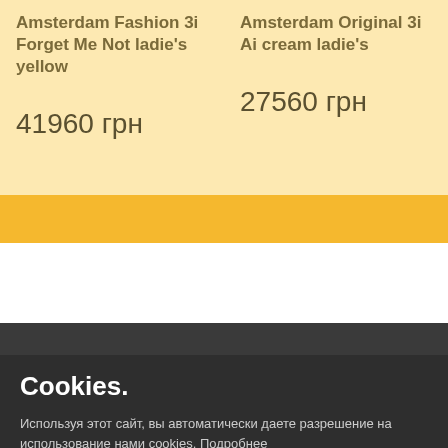Amsterdam Fashion 3i Forget Me Not ladie's yellow
Amsterdam Original 3i Ai cream ladie's
41960 грн
27560 грн
Cookies.
Используя этот сайт, вы автоматически даете разрешение на использование нами cookies. Подробнее
Согласен